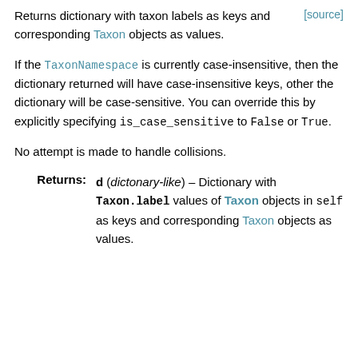Returns dictionary with taxon labels as keys and corresponding Taxon objects as values.
If the TaxonNamespace is currently case-insensitive, then the dictionary returned will have case-insensitive keys, other the dictionary will be case-sensitive. You can override this by explicitly specifying is_case_sensitive to False or True.
No attempt is made to handle collisions.
Returns: d (dictonary-like) – Dictionary with Taxon.label values of Taxon objects in self as keys and corresponding Taxon objects as values.